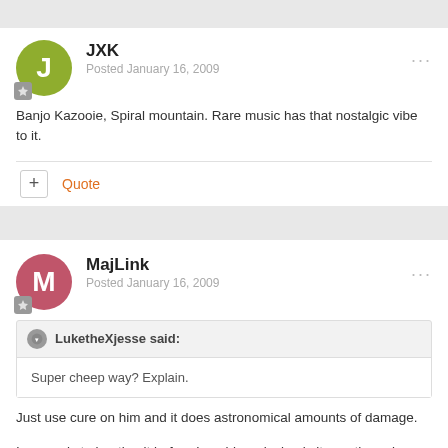JXK
Posted January 16, 2009
Banjo Kazooie, Spiral mountain. Rare music has that nostalgic vibe to it.
Quote
MajLink
Posted January 16, 2009
LuketheXjesse said:
Super cheep way? Explain.
Just use cure on him and it does astronomical amounts of damage.
In regards to beating it before I could read, simply it was the only game I